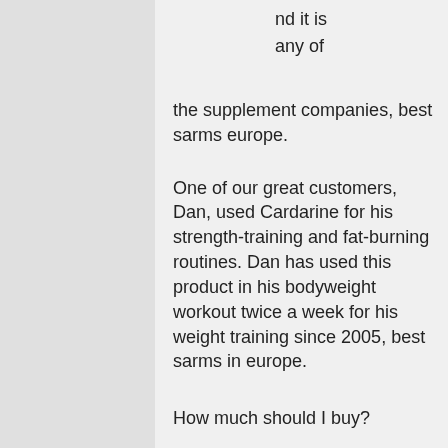nd it is any of the supplement companies, best sarms europe.
One of our great customers, Dan, used Cardarine for his strength-training and fat-burning routines. Dan has used this product in his bodyweight workout twice a week for his weight training since 2005, best sarms in europe.
How much should I buy?
You won't need many servings of Cardarine per day as Cardarine can provide its effects without any form of meal replacement.
One serving contains around 20mg (0, best sarms manufacturer.5g) of beta-Carotene and about 15mg of Vitamin K2, best sarms manufacturer. Cardarine is also one of the